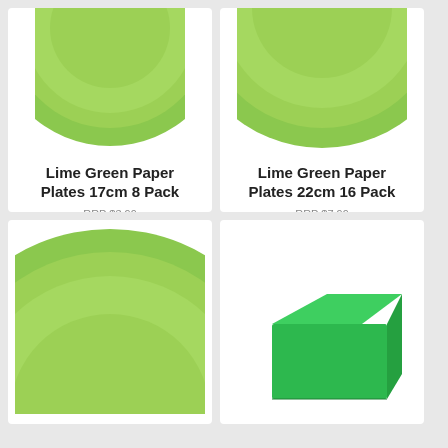[Figure (photo): Lime green paper plate viewed from above, partially cropped at top]
Lime Green Paper Plates 17cm 8 Pack
RRP $3.99
$2.99
SAVE $1.00 (25%)
[Figure (photo): Lime green paper plate viewed from above, partially cropped at top]
Lime Green Paper Plates 22cm 16 Pack
RRP $7.99
$6.99
SAVE $1.00 (13%)
[Figure (photo): Lime green paper plate viewed from above, partially cropped]
[Figure (photo): Green tablecloth/box product, partially shown]